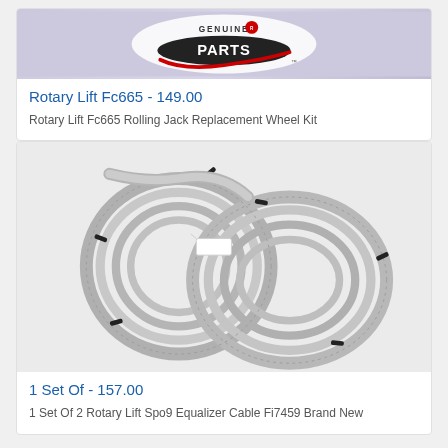[Figure (photo): Rotary Genuine Parts logo on purple/lavender background]
Rotary Lift Fc665 - 149.00
Rotary Lift Fc665 Rolling Jack Replacement Wheel Kit
[Figure (photo): Two coiled steel cable sets with black zip ties, product cables for automotive lift equalizer]
1 Set Of - 157.00
1 Set Of 2 Rotary Lift Spo9 Equalizer Cable Fi7459 Brand New